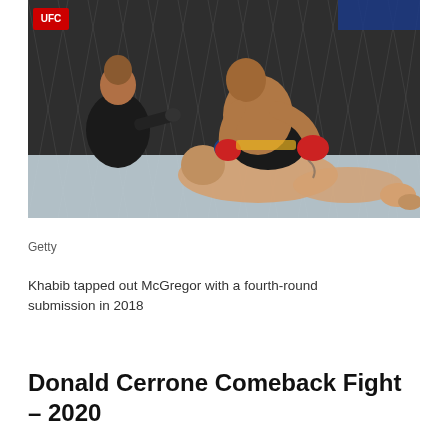[Figure (photo): UFC MMA fight scene: one fighter on top in ground-and-pound position striking opponent who lies on the mat inside the octagon cage, with a referee in black kneeling nearby observing. Red and blue gloves visible. Black cage fence backdrop.]
Getty
Khabib tapped out McGregor with a fourth-round submission in 2018
Donald Cerrone Comeback Fight – 2020